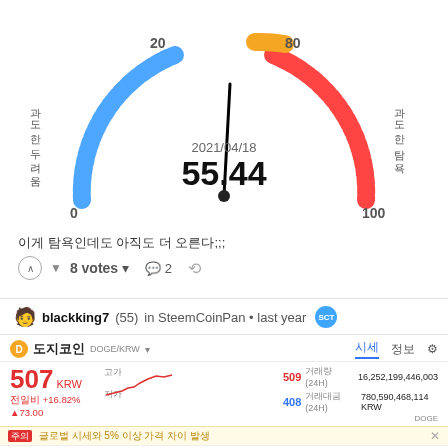[Figure (other): Gauge/speedometer chart showing value 55.44 dated 2021/04/18. Blue arc on left side labeled 0-20 with Korean text (과도한 두려움). Red-orange arc on right side labeled 80-100 with Korean text (과도한 탐욕). Needle pointing slightly above center.]
이게 탐욕인데도 아직도 더 오른다;;;
8 votes  💬 2  ↩
blackking7(55) in SteemCoinPan • last year  SCT
[Figure (other): Dogecoin (DOGE/KRW) price widget showing 507 KRW price, +16.82% ▲73.00 change, high 509, low 408, trading volume 16,252,199,446,003 DOGE, 780,590,468,114 KRW. Small line chart visible. Tabs: 시세 (active), 정보, settings. Alert bar showing 글로벌 시세와 5% 이상 가격 차이 발생. Toolbar with time intervals: 1분 3분 1시간 4시간 일 10분. Bottom bar: DOGE/KRW, 30, UPBIT▾ 시487 고509 저487 종507 +20(+4.11%)]